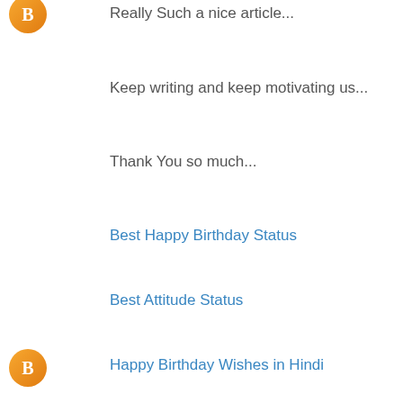Really Such a nice article...
Keep writing and keep motivating us...
Thank You so much...
Best Happy Birthday Status
Best Attitude Status
Happy Birthday Wishes in Hindi
Happy Birthday Wishes for Best Friend
Happy Birthday Wishes to Sister
Reply
Suresh Blogger 10 September 2019 at 05:52
Such a piece of good news...
Thanks for sharing this news keep motivating us like this